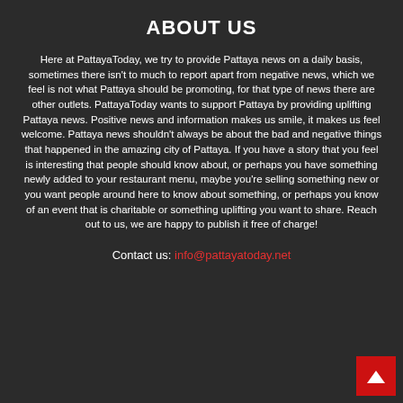ABOUT US
Here at PattayaToday, we try to provide Pattaya news on a daily basis, sometimes there isn't to much to report apart from negative news, which we feel is not what Pattaya should be promoting, for that type of news there are other outlets. PattayaToday wants to support Pattaya by providing uplifting Pattaya news. Positive news and information makes us smile, it makes us feel welcome. Pattaya news shouldn't always be about the bad and negative things that happened in the amazing city of Pattaya. If you have a story that you feel is interesting that people should know about, or perhaps you have something newly added to your restaurant menu, maybe you're selling something new or you want people around here to know about something, or perhaps you know of an event that is charitable or something uplifting you want to share. Reach out to us, we are happy to publish it free of charge!
Contact us: info@pattayatoday.net